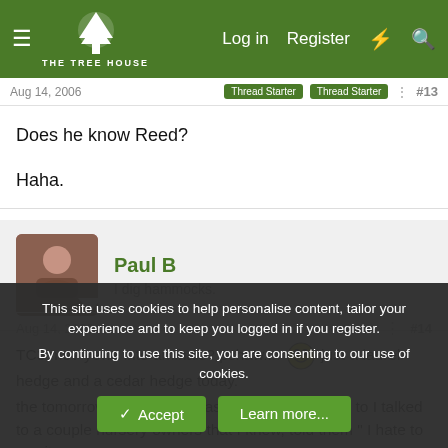THE TREE HOUSE — Log in | Register
Aug 14, 2006  Thread Starter  Thread Starter  #13
Does he know Reed?

Haha.
Paul B
I dig hammocks.
Aug 14, 2006  #14
TC3 me? yews into aminals? pshaws.... just a laurel hedge and a cedar hedge today.
the tomorrow thing is cool, last trade show I went to I talked to a couple nursery owners that I knew, told them " I hate to say it
This site uses cookies to help personalise content, tailor your experience and to keep you logged in if you register.
By continuing to use this site, you are consenting to our use of cookies.
[Accept] [Learn more...]